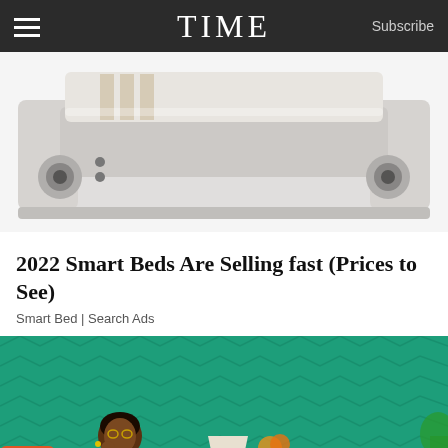TIME | Subscribe
[Figure (photo): Smart bed product photo – white/cream colored futuristic bed with speakers on footboard, viewed from foot-end angle, on white background]
2022 Smart Beds Are Selling fast (Prices to See)
Smart Bed | Search Ads
[Figure (photo): Woman sitting at a round white table with a laptop, in front of a teal/green chevron-patterned wall; orange chair visible on left, lamp and flowers on table, wooden sideboard with items in background]